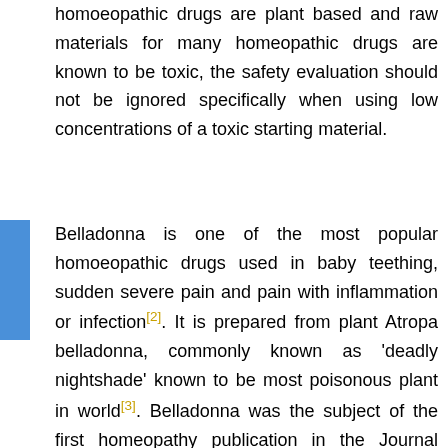homoeopathic drugs are plant based and raw materials for many homeopathic drugs are known to be toxic, the safety evaluation should not be ignored specifically when using low concentrations of a toxic starting material.
Belladonna is one of the most popular homoeopathic drugs used in baby teething, sudden severe pain and pain with inflammation or infection[2]. It is prepared from plant Atropa belladonna, commonly known as 'deadly nightshade' known to be most poisonous plant in world[3]. Belladonna was the subject of the first homeopathy publication in the Journal Lancet in 1829* on its prophylactic and therapeutic efficacy for scarlet fever[4]. It is used in traditional treatments for